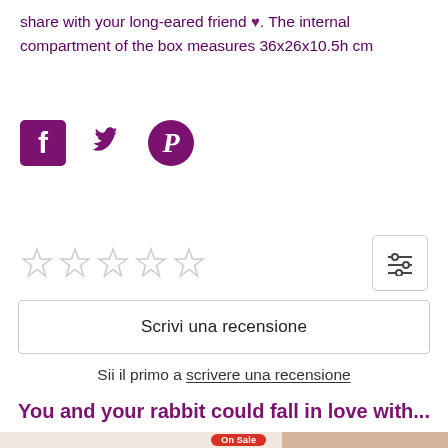share with your long-eared friend ♥. The internal compartment of the box measures 36x26x10.5h cm
[Figure (infographic): Social media share icons: Facebook (purple square with f), Twitter (purple bird), Pinterest (purple circle with P)]
[Figure (infographic): 5 empty star rating icons in a row, and a filter/sort icon button on the right]
Scrivi una recensione
Sii il primo a scrivere una recensione
You and your rabbit could fall in love with...
[Figure (photo): Partial product image with 'On Sale' badge and another product image on the right, cropped at bottom of page]